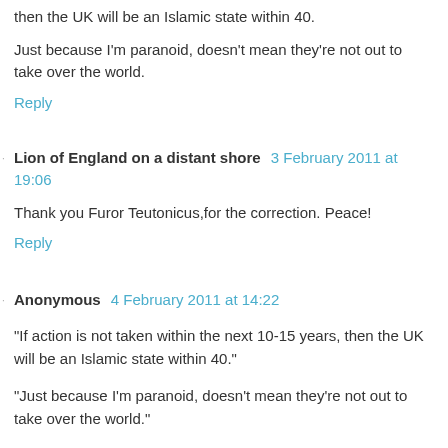then the UK will be an Islamic state within 40.
Just because I'm paranoid, doesn't mean they're not out to take over the world.
Reply
Lion of England on a distant shore 3 February 2011 at 19:06
Thank you Furor Teutonicus,for the correction. Peace!
Reply
Anonymous 4 February 2011 at 14:22
"If action is not taken within the next 10-15 years, then the UK will be an Islamic state within 40."
"Just because I'm paranoid, doesn't mean they're not out to take over the world."
Are you a little Jewish scum bag? Like Hitler and Stalin